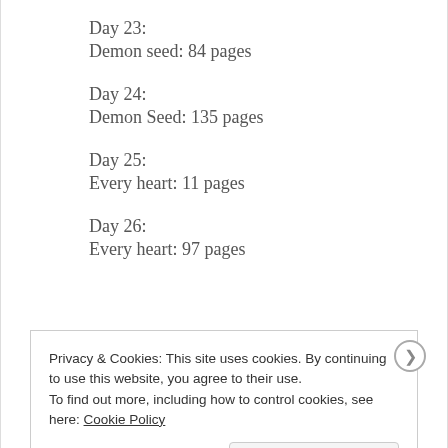Day 23:
Demon seed: 84 pages
Day 24:
Demon Seed: 135 pages
Day 25:
Every heart: 11 pages
Day 26:
Every heart: 97 pages
Privacy & Cookies: This site uses cookies. By continuing to use this website, you agree to their use.
To find out more, including how to control cookies, see here: Cookie Policy
Close and accept